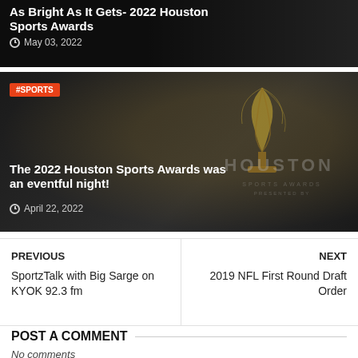[Figure (photo): Dark background card showing text 'As Bright As It Gets- 2022 Houston Sports Awards' with date May 03, 2022]
[Figure (photo): Dark card with Houston Sports Awards trophy logo and text 'The 2022 Houston Sports Awards was an eventful night!' with #SPORTS badge, dated April 22, 2022]
PREVIOUS
SportzTalk with Big Sarge on KYOK 92.3 fm
NEXT
2019 NFL First Round Draft Order
POST A COMMENT
No comments
To leave a comment, click the button below to sign in with